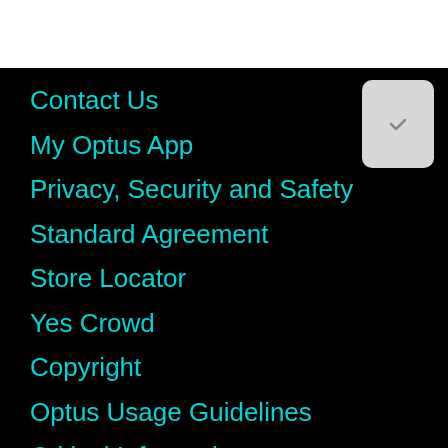Contact Us
My Optus App
Privacy, Security and Safety
Standard Agreement
Store Locator
Yes Crowd
Copyright
Optus Usage Guidelines
Critical Information Summaries
Hype
Optus Sport
Accessibility
Device Warranties
Wholesale